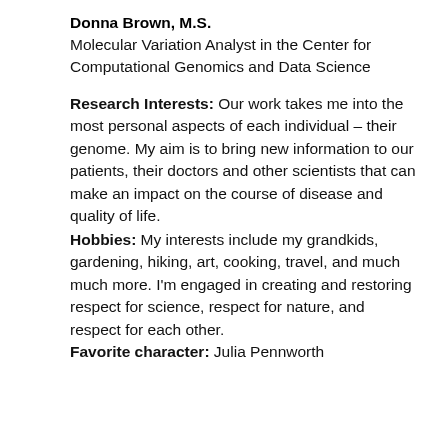Donna Brown, M.S.
Molecular Variation Analyst in the Center for Computational Genomics and Data Science
Research Interests:  Our work takes me into the most personal aspects of each individual – their genome. My aim is to bring new information to our patients, their doctors and other scientists that can make an impact on the course of disease and quality of life.
Hobbies:  My interests include my grandkids, gardening, hiking, art, cooking, travel, and much much more. I'm engaged in creating and restoring respect for science, respect for nature, and respect for each other.
Favorite character:  Julia Pennworth